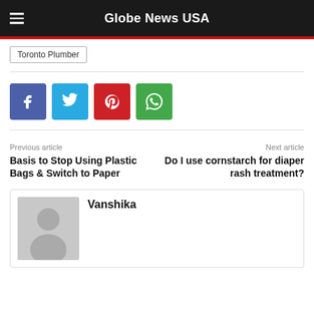Globe News USA
Toronto Plumber
[Figure (other): Social share buttons: Facebook (blue), Twitter (cyan), Pinterest (red), WhatsApp (green)]
Previous article
Basis to Stop Using Plastic Bags & Switch to Paper
Next article
Do I use cornstarch for diaper rash treatment?
Vanshika
[Figure (illustration): Author avatar placeholder with grey background and silhouette]